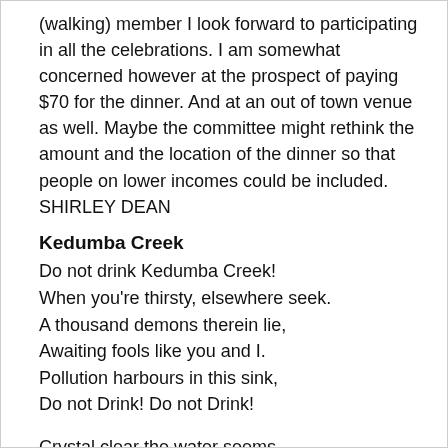(walking) member I look forward to participating in all the celebrations. I am somewhat concerned however at the prospect of paying $70 for the dinner. And at an out of town venue as well. Maybe the committee might rethink the amount and the location of the dinner so that people on lower incomes could be included. SHIRLEY DEAN
Kedumba Creek
Do not drink Kedumba Creek!
When you're thirsty, elsewhere seek.
A thousand demons therein lie,
Awaiting fools like you and I.
Pollution harbours in this sink,
Do not Drink! Do not Drink!

Crystal clear the water seems,
But with hateful life it teems.
For it stems from Leura's drains,
And Katoomba's streets and lanes.
Avoid these waters as if ink,